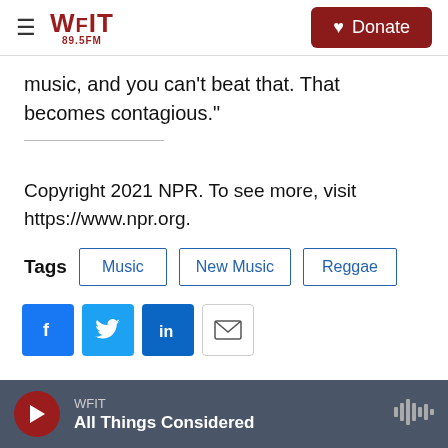WFIT 89.5FM | Donate
music, and you can't beat that. That becomes contagious."
Copyright 2021 NPR. To see more, visit https://www.npr.org.
Tags: Music | New Music | Reggae
WFIT - All Things Considered